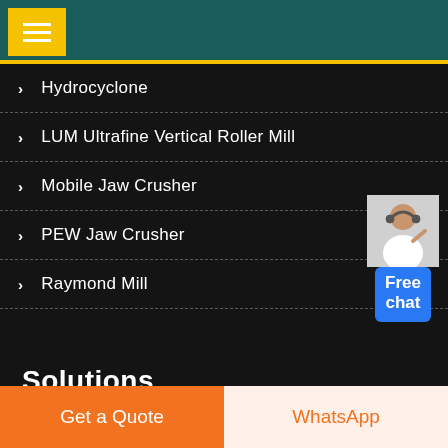Menu navigation header with yellow hamburger menu button on teal background
> Hydrocyclone
> LUM Ultrafine Vertical Roller Mill
> Mobile Jaw Crusher
> PEW Jaw Crusher
> Raymond Mill
[Figure (illustration): Customer service representative with Free chat button widget]
Solutions
SBC Machinery is a specialist manufacturer of Coal
Get a Quote | WhatsApp